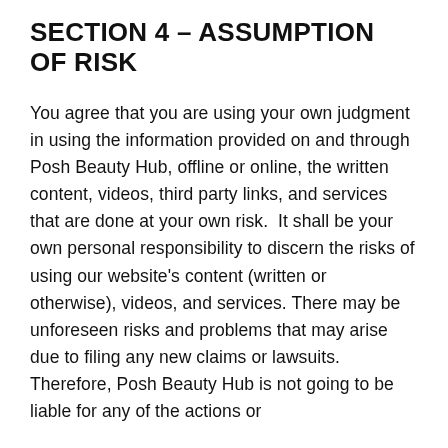SECTION 4 – ASSUMPTION OF RISK
You agree that you are using your own judgment in using the information provided on and through Posh Beauty Hub, offline or online, the written content, videos, third party links, and services that are done at your own risk.  It shall be your own personal responsibility to discern the risks of using our website's content (written or otherwise), videos, and services. There may be unforeseen risks and problems that may arise due to filing any new claims or lawsuits. Therefore, Posh Beauty Hub is not going to be liable for any of the actions or